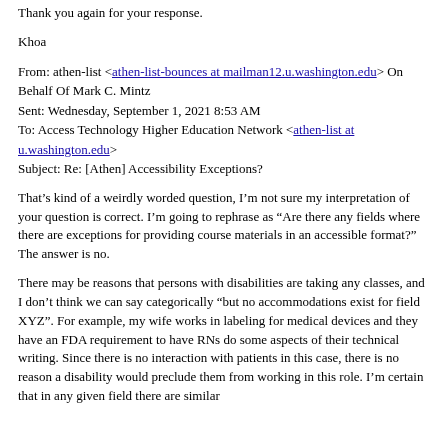Thank you again for your response.
Khoa
From: athen-list <athen-list-bounces at mailman12.u.washington.edu> On Behalf Of Mark C. Mintz
Sent: Wednesday, September 1, 2021 8:53 AM
To: Access Technology Higher Education Network <athen-list at u.washington.edu>
Subject: Re: [Athen] Accessibility Exceptions?
That’s kind of a weirdly worded question, I’m not sure my interpretation of your question is correct. I’m going to rephrase as “Are there any fields where there are exceptions for providing course materials in an accessible format?” The answer is no.
There may be reasons that persons with disabilities are taking any classes, and I don’t think we can say categorically “but no accommodations exist for field XYZ”. For example, my wife works in labeling for medical devices and they have an FDA requirement to have RNs do some aspects of their technical writing. Since there is no interaction with patients in this case, there is no reason a disability would preclude them from working in this role. I’m certain that in any given field there are similar